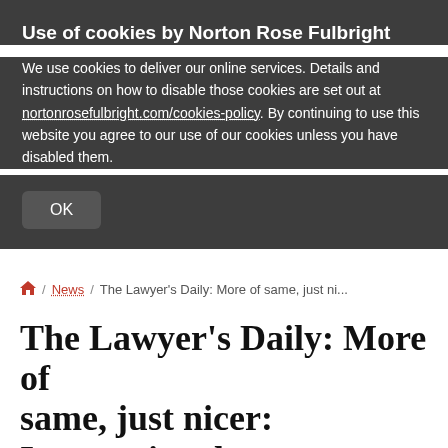Use of cookies by Norton Rose Fulbright
We use cookies to deliver our online services. Details and instructions on how to disable those cookies are set out at nortonrosefulbright.com/cookies-policy. By continuing to use this website you agree to our use of our cookies unless you have disabled them.
OK
/ News / The Lawyer's Daily: More of same, just ni...
The Lawyer's Daily: More of same, just nicer: International trade under Biden